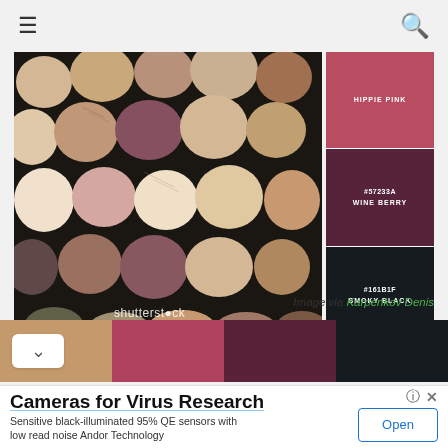☰  [hamburger menu]  🔍 [search icon]
[Figure (photo): A top-down photo of many wine corks tightly packed together, showing various shades of beige, pink, and purple cork ends. Next to the photo are three color swatches: Hippie Pink (#AE4560), Wine Berry (#57233A), and Smoky Black (#161B1F). A shutterstock watermark overlays the lower center of the photo.]
Image via Karpenkov Denis
[Figure (infographic): A horizontal color strip palette showing four colors: tan/nude, hippie pink, wine berry, and smoky black. A white chevron-down button overlays the left side.]
[Figure (other): Advertisement banner: 'Cameras for Virus Research' with subtitle 'Sensitive black-illuminated 95% QE sensors with low read noise Andor Technology' and an 'Open' button.]